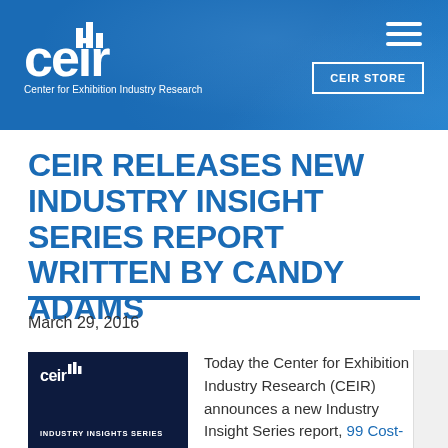CEIR - Center for Exhibition Industry Research
CEIR RELEASES NEW INDUSTRY INSIGHT SERIES REPORT WRITTEN BY CANDY ADAMS
March 29, 2016
[Figure (logo): CEIR Industry Insights Series report cover thumbnail — dark navy background with CEIR logo and INDUSTRY INSIGHTS SERIES text]
Today the Center for Exhibition Industry Research (CEIR) announces a new Industry Insight Series report, 99 Cost-